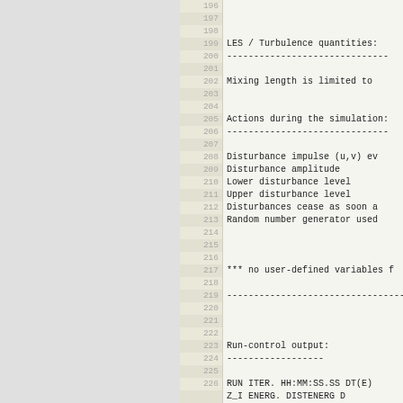Code listing lines 196-227, showing LES/Turbulence quantities section, Actions during simulation section, user-defined variables note, and Run-control output section header with column labels RUN ITER. HH:MM:SS.SS DT(E) Z_I ENERG. DISTENERG D ADVECX ADVECY MGCYC
| line | content |
| --- | --- |
| 196 |  |
| 197 |  |
| 198 |  |
| 199 | LES / Turbulence quantities: |
| 200 | ------------------------------ |
| 201 |  |
| 202 |     Mixing length is limited to |
| 203 |  |
| 204 |  |
| 205 | Actions during the simulation: |
| 206 | ------------------------------ |
| 207 |  |
| 208 |     Disturbance impulse (u,v) ev |
| 209 |     Disturbance amplitude |
| 210 |     Lower disturbance level |
| 211 |     Upper disturbance level |
| 212 |     Disturbances cease as soon a |
| 213 |     Random number generator used |
| 214 |  |
| 215 |  |
| 216 |  |
| 217 | *** no user-defined variables f |
| 218 |  |
| 219 | ------------------------------------- |
| 220 |  |
| 221 |  |
| 222 |  |
| 223 | Run-control output: |
| 224 | ------------------ |
| 225 |  |
| 226 | RUN  ITER. HH:MM:SS.SS    DT(E) |
| 226b |     Z_I      ENERG.    DISTENERG    D |
| 226c |     ADVECX    ADVECY    MGCYC |
| 227 | ------------------------------------- |